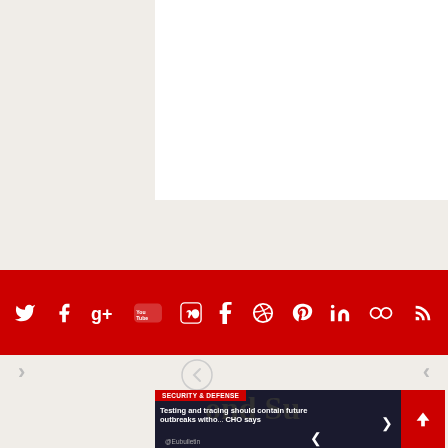[Figure (screenshot): White content area on light beige background - top portion of a web page]
[Figure (infographic): Red social media icon bar with white icons: Twitter, Facebook, Google+, YouTube, Vimeo, Tumblr, Dribbble, Pinterest, LinkedIn, Flickr, RSS]
[Figure (screenshot): Navigation area with left/right arrows and circular icon on beige background]
[Figure (screenshot): News article card with 'SECURITY & DEFENSE' red tag, headline 'Testing and tracing should contain future outbreaks without... CHO says', newspaper background, @Eubulletin handle, red up-arrow button]